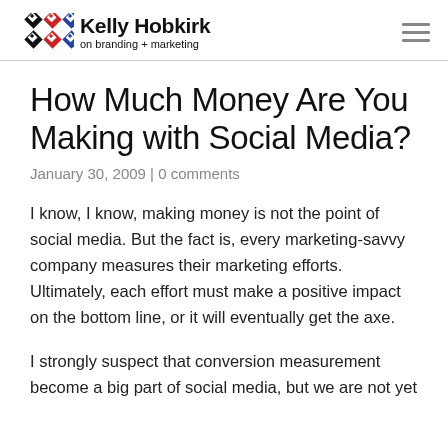Kelly Hobkirk on branding + marketing
How Much Money Are You Making with Social Media?
January 30, 2009 | 0 comments
I know, I know, making money is not the point of social media. But the fact is, every marketing-savvy company measures their marketing efforts. Ultimately, each effort must make a positive impact on the bottom line, or it will eventually get the axe.
I strongly suspect that conversion measurements become a big part of social media, but we are not yet